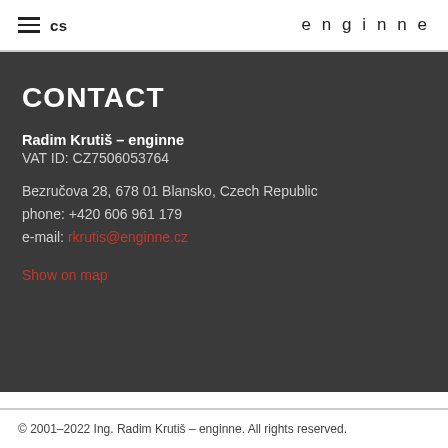CS  enginne
CONTACT
Radim Krutiš – enginne
VAT ID: CZ7506053764
Bezručova 28, 678 01 Blansko, Czech Republic
phone: +420 606 961 179
e-mail: rkrutis@enginne.cz
Show on map
© 2001–2022 Ing. Radim Krutiš – enginne. All rights reserved.